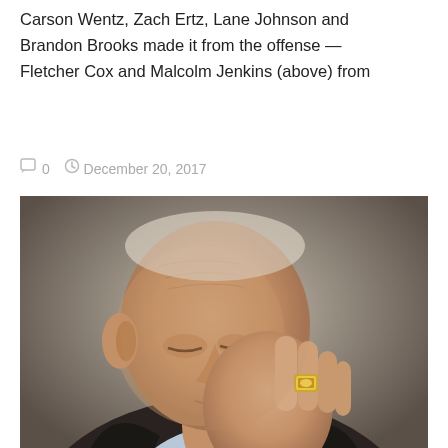Carson Wentz, Zach Ertz, Lane Johnson and Brandon Brooks made it from the offense — Fletcher Cox and Malcolm Jenkins (above) from
0   December 20, 2017
[Figure (photo): An elderly man with his hand raised to his face, wearing a large championship ring and a dark suit jacket over a light blue shirt. He appears to be looking downward.]
TEXAS JOURNOS RESTLESS WITH COWBOYS' MEDIOCRITY!
By Jack Ryan Texas journalists are starting to